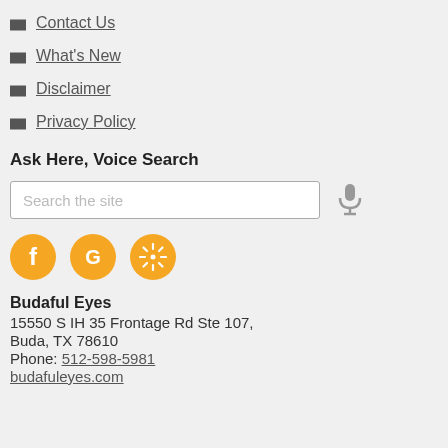Contact Us
What's New
Disclaimer
Privacy Policy
Ask Here, Voice Search
[Figure (other): Search input box with placeholder text 'Search the site' and a microphone icon to the right]
[Figure (other): Three orange social media icon circles: Facebook (f), Google (G), Yelp (asterisk/flower icon)]
Budaful Eyes
15550 S IH 35 Frontage Rd Ste 107,
Buda, TX 78610
Phone: 512-598-5981
budafuleyes.com